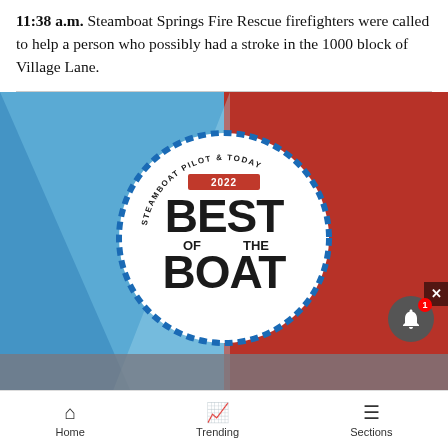11:38 a.m. Steamboat Springs Fire Rescue firefighters were called to help a person who possibly had a stroke in the 1000 block of Village Lane.
[Figure (advertisement): Steamboat Pilot & Today 2022 Best of the Boat award badge/advertisement with blue and red photo collage background and a circular white badge logo in the center.]
Home   Trending   Sections